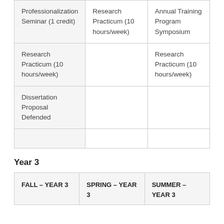|  |  |  |
| --- | --- | --- |
| Professionalization Seminar (1 credit) | Research Practicum (10 hours/week) | Annual Training Program Symposium |
| Research Practicum (10 hours/week) |  | Research Practicum (10 hours/week) |
| Dissertation Proposal Defended |  |  |
|  |  |  |
Year 3
| FALL – YEAR 3 | SPRING – YEAR 3 | SUMMER – YEAR 3 |
| --- | --- | --- |